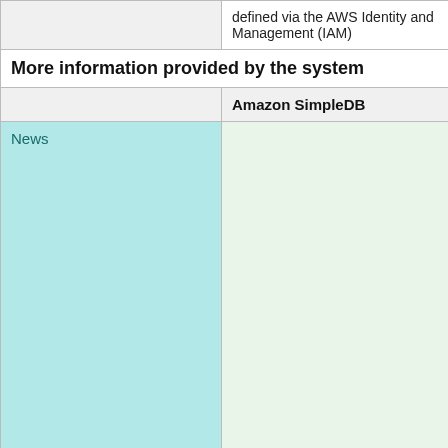|  | Amazon SimpleDB |
| --- | --- |
|  | defined via the AWS Identity and Management (IAM) |
| More information provided by the system |  |
|  | Amazon SimpleDB |
| News |  |